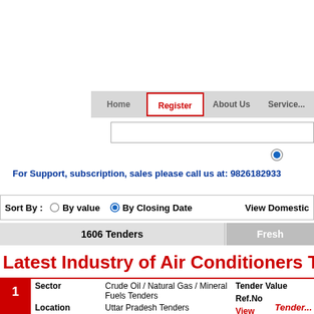[Figure (screenshot): Navigation bar with Home, Register (active/highlighted), About Us, Services menu items]
[Figure (screenshot): Search input bar]
[Figure (screenshot): Selected radio button (blue filled circle)]
For Support, subscription, sales please call us at: 9826182933
Sort By :   By value   By Closing Date   View Domestic
1606 Tenders   Fresh
Latest Industry of Air Conditioners Tend...
| # | Sector | Tender Value | Location | Ref.No | Closing Date |  |
| --- | --- | --- | --- | --- | --- | --- |
| 1 | Crude Oil / Natural Gas / Mineral Fuels Tenders |  | Uttar Pradesh Tenders |  | 06 - Jul - 2024 | 683 Days to go | View |
|  | Registration of venders for constructs, works and services for int... facil... |  |  |  |  | Tender... |